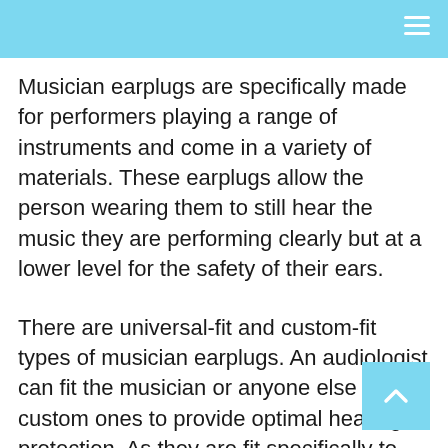Musician earplugs are specifically made for performers playing a range of instruments and come in a variety of materials. These earplugs allow the person wearing them to still hear the music they are performing clearly but at a lower level for the safety of their ears.
There are universal-fit and custom-fit types of musician earplugs. An audiologist can fit the musician or anyone else for the custom ones to provide optimal hearing protection. As they are fit specifically to the shape and size of the individual's ears, these earplugs are comfortable to wear for extended periods.
This type of earplug is a good idea for anyone